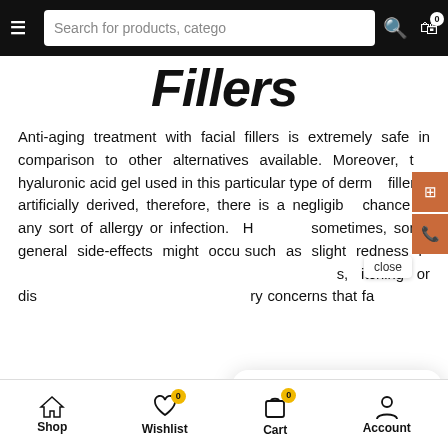Search for products, categories
Fillers
Anti-aging treatment with facial fillers is extremely safe in comparison to other alternatives available. Moreover, the hyaluronic acid gel used in this particular type of dermal filler is artificially derived, therefore, there is a negligible chance of any sort of allergy or infection. However, sometimes, some general side-effects might occur such as slight redness in the treatment areas, bumps, itching or discomfort but these are temporary concerns that fade away within a few days.
More
Fillers
[Figure (screenshot): Chat popup from Nitai with logo and text: Welcome to Nitai. Have a question? Text us here.]
Shop  Wishlist  Cart  Account